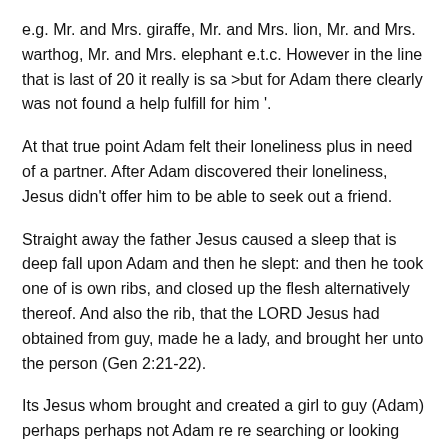e.g. Mr. and Mrs. giraffe, Mr. and Mrs. lion, Mr. and Mrs. warthog, Mr. and Mrs. elephant e.t.c. However in the line that is last of 20 it really is sa >but for Adam there clearly was not found a help fulfill for him '.
At that true point Adam felt their loneliness plus in need of a partner. After Adam discovered their loneliness, Jesus didn't offer him to be able to seek out a friend.
Straight away the father Jesus caused a sleep that is deep fall upon Adam and then he slept: and then he took one of is own ribs, and closed up the flesh alternatively thereof. And also the rib, that the LORD Jesus had obtained from guy, made he a lady, and brought her unto the person (Gen 2:21-22).
Its Jesus whom brought and created a girl to guy (Adam) perhaps perhaps not Adam re re searching or looking their